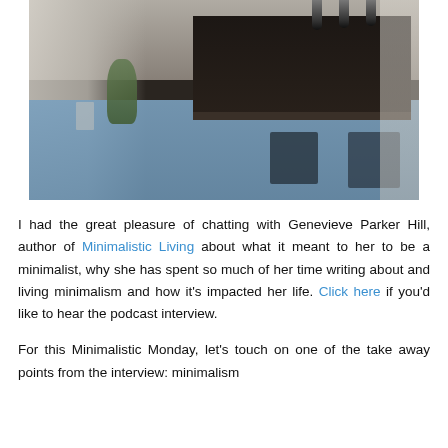[Figure (photo): A minimalist kitchen interior with dark cabinetry, pendant copper lamps, a blue-toned floor, chairs around an island, and large windows with natural light and a plant.]
I had the great pleasure of chatting with Genevieve Parker Hill, author of Minimalistic Living about what it meant to her to be a minimalist, why she has spent so much of her time writing about and living minimalism and how it's impacted her life. Click here if you'd like to hear the podcast interview.
For this Minimalistic Monday, let's touch on one of the take away points from the interview: minimalism